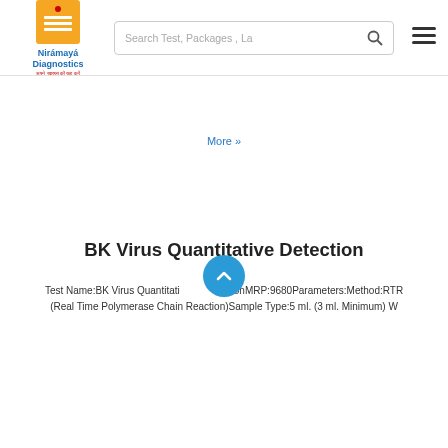[Figure (logo): Niramaya Diagnostics logo with orange icon and blue text]
Search Test, Packages , La
More »
BK Virus Quantitative Detection
Test Name:BK Virus Quantitative Detection MRP:9680 Parameters:Method:RTR (Real Time Polymerase Chain Reaction) Sample Type:5 ml. (3 ml. Minimum) W